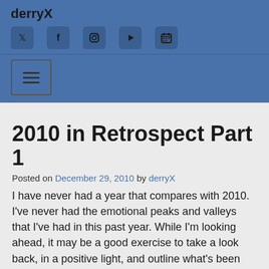derryX
[Figure (infographic): Social media icons: Twitter, Facebook, Instagram, YouTube, Calendar]
[Figure (infographic): Hamburger menu button]
2010 in Retrospect Part 1
Posted on December 29, 2010 by derryX
I have never had a year that compares with 2010. I've never had the emotional peaks and valleys that I've had in this past year. While I'm looking ahead, it may be a good exercise to take a look back, in a positive light, and outline what's been going on. So I'm gonna give a month, maybe a few sentences of my mind frame and one or two of my favorite facebook updates from that month. (This will be unleashed in 3 parts)